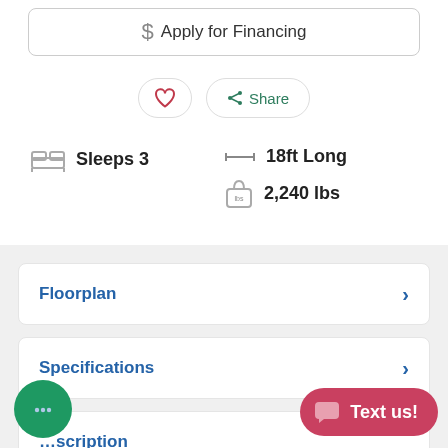Apply for Financing
❤  Share
Sleeps 3
18ft Long
2,240 lbs
Floorplan
Specifications
Description
Text us!